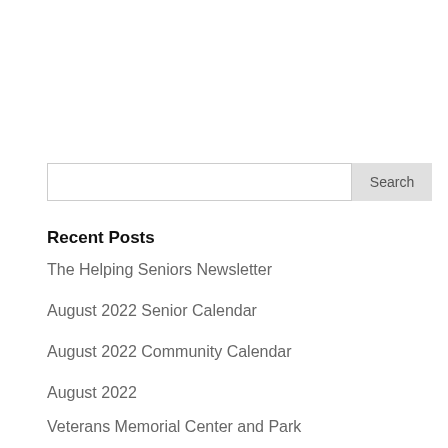[Figure (screenshot): Search input box with Search button on the right]
Recent Posts
The Helping Seniors Newsletter
August 2022 Senior Calendar
August 2022 Community Calendar
August 2022
Veterans Memorial Center and Park